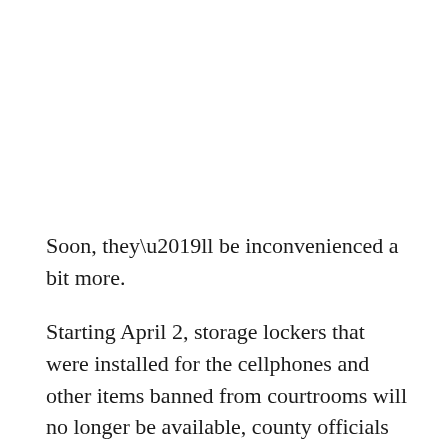Soon, they’ll be inconvenienced a bit more.
Starting April 2, storage lockers that were installed for the cellphones and other items banned from courtrooms will no longer be available, county officials said.
“Chief Judge Timothy C. Evans was notified by the Cook County Department of Facilities Management that, due to security and staffing concerns, it’ll